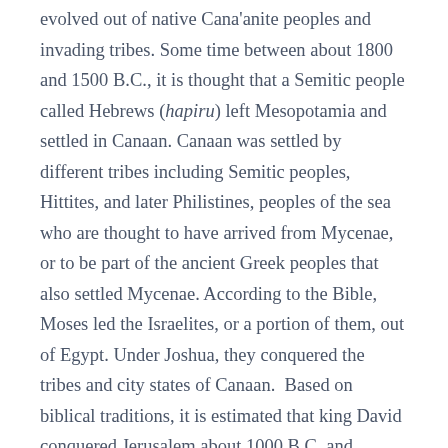evolved out of native Cana'anite peoples and invading tribes. Some time between about 1800 and 1500 B.C., it is thought that a Semitic people called Hebrews (hapiru) left Mesopotamia and settled in Canaan. Canaan was settled by different tribes including Semitic peoples, Hittites, and later Philistines, peoples of the sea who are thought to have arrived from Mycenae, or to be part of the ancient Greek peoples that also settled Mycenae. According to the Bible, Moses led the Israelites, or a portion of them, out of Egypt. Under Joshua, they conquered the tribes and city states of Canaan.  Based on biblical traditions, it is estimated that king David conquered Jerusalem about 1000 B.C. and established an Israelite kingdom over much of Canaan including parts of Transjordan.
The kingdom was divided into Judea in the south and